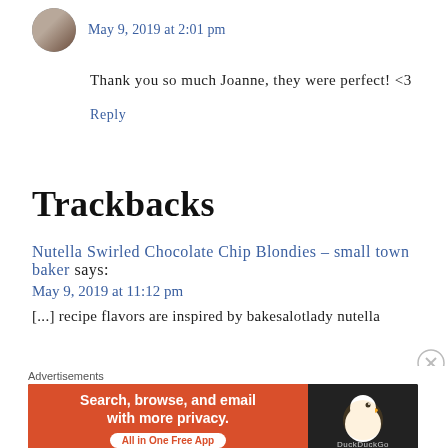[Figure (photo): Circular avatar photo of a person]
May 9, 2019 at 2:01 pm
Thank you so much Joanne, they were perfect! <3
Reply
Trackbacks
Nutella Swirled Chocolate Chip Blondies – small town baker says:
May 9, 2019 at 11:12 pm
[...] recipe flavors are inspired by bakesalotlady nutella
[Figure (other): DuckDuckGo advertisement banner: Search, browse, and email with more privacy. All in One Free App]
Advertisements